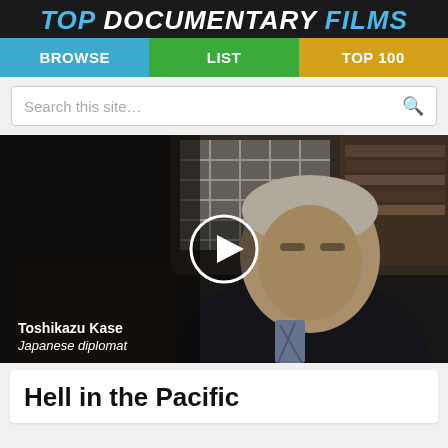TOP DOCUMENTARY FILMS
BROWSE | LIST | TOP 100
Search this site…
[Figure (screenshot): Video thumbnail of an elderly man in a dark suit and patterned tie, seated in front of a window with lattice panes and a bookshelf. A white play button circle is overlaid in the center. A lower-third caption reads 'Toshikazu Kase, Japanese diplomat'.]
Hell in the Pacific